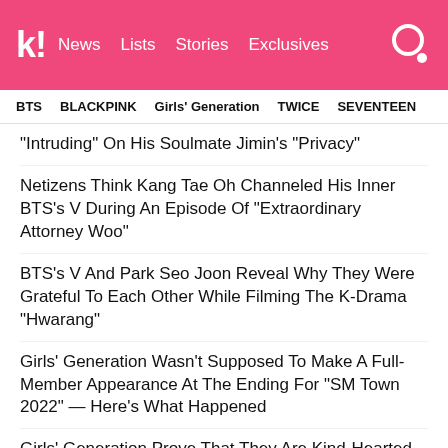kl! News Lists Stories Exclusives
BTS   BLACKPINK   Girls' Generation   TWICE   SEVENTEEN
"Intruding" On His Soulmate Jimin's "Privacy"
Netizens Think Kang Tae Oh Channeled His Inner BTS's V During An Episode Of "Extraordinary Attorney Woo"
BTS's V And Park Seo Joon Reveal Why They Were Grateful To Each Other While Filming The K-Drama "Hwarang"
Girls' Generation Wasn't Supposed To Make A Full-Member Appearance At The Ending For "SM Town 2022" — Here's What Happened
Girls' Generation Prove That They Are Kind-Hearted Queens At "SM Town 2022" With How They Reached Out To Super Junior's Eunhyuk
NEXT ARTICLE